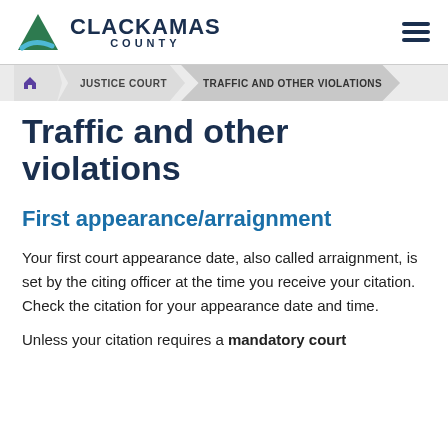[Figure (logo): Clackamas County logo with green triangle/wave mark and bold text]
JUSTICE COURT > TRAFFIC AND OTHER VIOLATIONS
Traffic and other violations
First appearance/arraignment
Your first court appearance date, also called arraignment, is set by the citing officer at the time you receive your citation. Check the citation for your appearance date and time.
Unless your citation requires a mandatory court